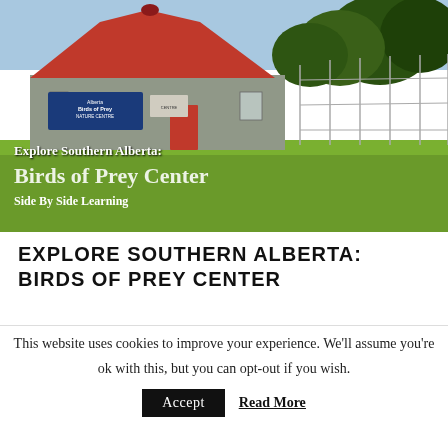[Figure (photo): Exterior photo of Alberta Birds of Prey Nature Centre building with a red roof, blue sign, red door, chain-link fence, and green lawn. Overlaid text reads: 'Explore Southern Alberta: Birds of Prey Center Side By Side Learning']
EXPLORE SOUTHERN ALBERTA: BIRDS OF PREY CENTER
This website uses cookies to improve your experience. We'll assume you're ok with this, but you can opt-out if you wish. Accept Read More